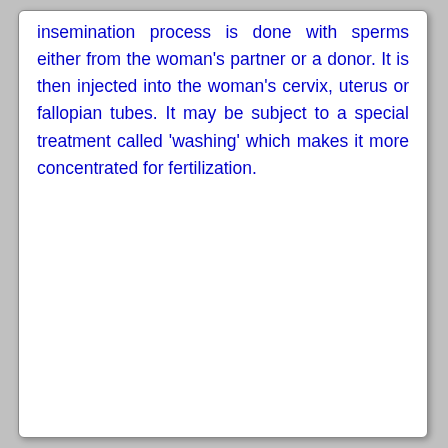insemination process is done with sperms either from the woman's partner or a donor. It is then injected into the woman's cervix, uterus or fallopian tubes. It may be subject to a special treatment called 'washing' which makes it more concentrated for fertilization.